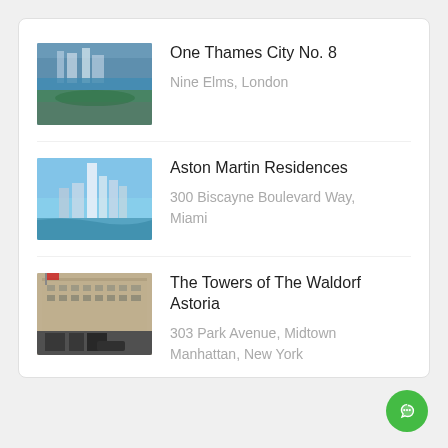[Figure (photo): Aerial view of One Thames City No. 8, Nine Elms, London]
One Thames City No. 8
Nine Elms, London
[Figure (photo): Aerial view of Aston Martin Residences, Miami skyline]
Aston Martin Residences
300 Biscayne Boulevard Way, Miami
[Figure (photo): Street-level photo of The Towers of The Waldorf Astoria building]
The Towers of The Waldorf Astoria
303 Park Avenue, Midtown Manhattan, New York